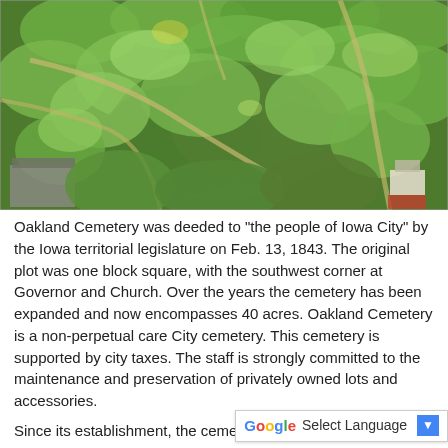[Figure (photo): Aerial drone photograph of Oakland Cemetery in Iowa City, showing dense green tree canopy covering a large cemetery area surrounded by residential neighborhood streets and houses.]
Oakland Cemetery was deeded to "the people of Iowa City" by the Iowa territorial legislature on Feb. 13, 1843. The original plot was one block square, with the southwest corner at Governor and Church. Over the years the cemetery has been expanded and now encompasses 40 acres. Oakland Cemetery is a non-perpetual care City cemetery. This cemetery is supported by city taxes. The staff is strongly committed to the maintenance and preservation of privately owned lots and accessories.
Since its establishment, the cemet